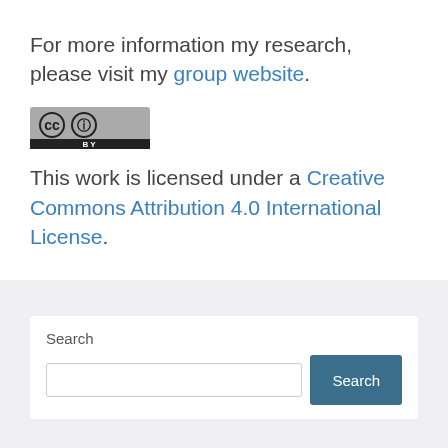For more information my research, please visit my group website.
[Figure (logo): Creative Commons BY license badge — grey rectangle with CC and person icons and 'BY' text]
This work is licensed under a Creative Commons Attribution 4.0 International License.